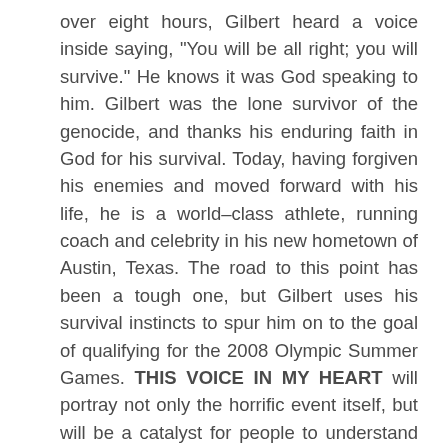over eight hours, Gilbert heard a voice inside saying, "You will be all right; you will survive." He knows it was God speaking to him. Gilbert was the lone survivor of the genocide, and thanks his enduring faith in God for his survival. Today, having forgiven his enemies and moved forward with his life, he is a world–class athlete, running coach and celebrity in his new hometown of Austin, Texas. The road to this point has been a tough one, but Gilbert uses his survival instincts to spur him on to the goal of qualifying for the 2008 Olympic Summer Games. THIS VOICE IN MY HEART will portray not only the horrific event itself, but will be a catalyst for people to understand real forgiveness and the gift of faith in God.